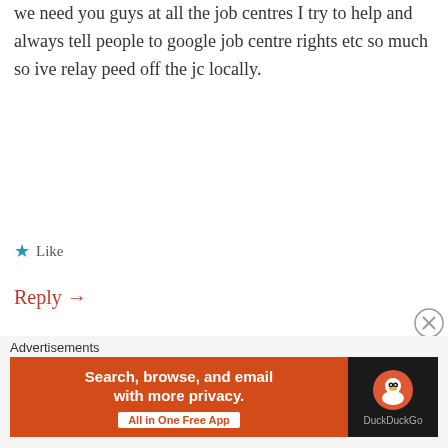we need you guys at all the job centres I try to help and always tell people to google job centre rights etc so much so ive relay peed off the jc locally.
★ Like
Reply →
[Figure (photo): Small avatar thumbnail showing a dome building (St Paul's Cathedral)]
1dillan says:
Charlotte, keep your head up high, you are an angel, keep going, though somehow, I can't see you ever
Advertisements
[Figure (screenshot): DuckDuckGo advertisement banner: 'Search, browse, and email with more privacy. All in One Free App' on orange background with DuckDuckGo logo on dark background]